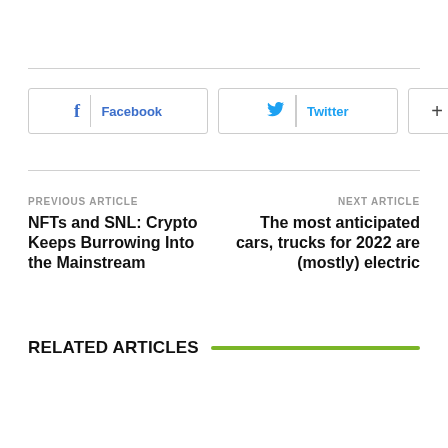[Figure (other): Social share buttons row: Facebook (blue), Twitter (blue), and a plus (+) button, each as bordered rectangular buttons]
PREVIOUS ARTICLE
NFTs and SNL: Crypto Keeps Burrowing Into the Mainstream
NEXT ARTICLE
The most anticipated cars, trucks for 2022 are (mostly) electric
RELATED ARTICLES